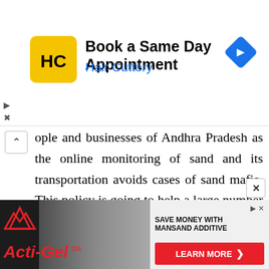[Figure (screenshot): Top advertisement banner for Hair Cuttery: yellow/black HC logo, text 'Book a Same Day Appointment', 'Hair Cuttery' in blue, blue diamond navigation icon on right. Play and X controls on left side.]
ople and businesses of Andhra Pradesh as the online monitoring of sand and its transportation avoids cases of sand mafia. This policy is going to help a large number of people in the state. It is very easy to ap sand register online, book orders, track orders, and to transport the material. You can read more
[Figure (screenshot): Bottom advertisement for Acti-Gel with mountain logo in red, 'Acti-Gel' text in red italic, construction sand photo in background, right panel showing 'SAVE MONEY WITH MANSAND ADDITIVE' and red 'LEARN MORE' button.]